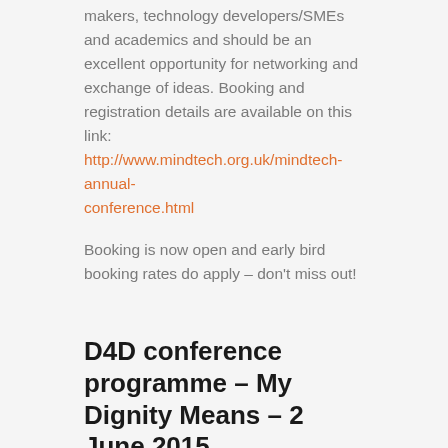makers, technology developers/SMEs and academics and should be an excellent opportunity for networking and exchange of ideas. Booking and registration details are available on this link: http://www.mindtech.org.uk/mindtech-annual-conference.html
Booking is now open and early bird booking rates do apply – don't miss out!
D4D conference programme – My Dignity Means – 2 June 2015
2nd June 2015  /  in Events  /  by Matt Abrams
Devices for Dignity Healthcare Technology Co-operative (D4D HTC) is a national initiative funded